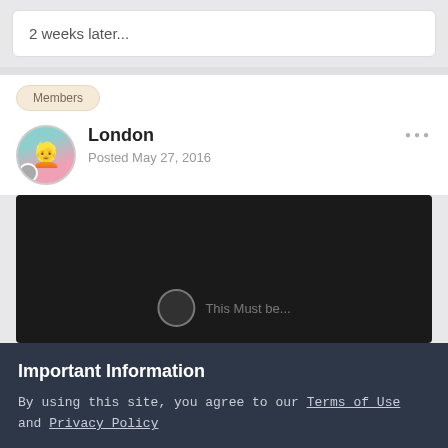2 weeks later...
Members
London
Posted May 27, 2016
[Figure (photo): Dark/black image area with a faint play button circle and partially visible text at the bottom]
Important Information
By using this site, you agree to our Terms of Use and Privacy Policy
✓  I accept